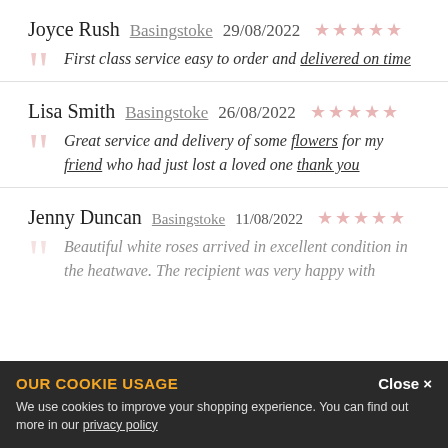Joyce Rush  Basingstoke  29/08/2022  ★★★★★
First class service easy to order and delivered on time
Lisa Smith  Basingstoke  26/08/2022  ★★★★★
Great service and delivery of some flowers for my friend who had just lost a loved one thank you
Jenny Duncan  Basingstoke  11/08/2022  ★★★★★
Beautiful white roses arrived in excellent condition in the heatwave. The recipient was very happy with
OUR COOKIE USAGE
Close ×
We use cookies to improve your shopping experience. You can find out more in our privacy policy